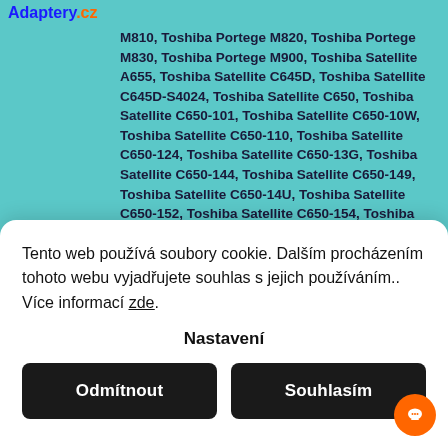Adaptery.cz
M810, Toshiba Portege M820, Toshiba Portege M830, Toshiba Portege M900, Toshiba Satellite A655, Toshiba Satellite C645D, Toshiba Satellite C645D-S4024, Toshiba Satellite C650, Toshiba Satellite C650-101, Toshiba Satellite C650-10W, Toshiba Satellite C650-110, Toshiba Satellite C650-124, Toshiba Satellite C650-13G, Toshiba Satellite C650-144, Toshiba Satellite C650-149, Toshiba Satellite C650-14U, Toshiba Satellite C650-152, Toshiba Satellite C650-154, Toshiba
Tento web používá soubory cookie. Dalším procházením tohoto webu vyjadřujete souhlas s jejich používáním.. Více informací zde.
Nastavení
Odmítnout
Souhlasím